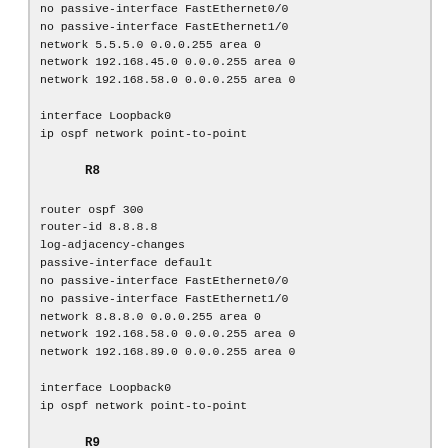no passive-interface FastEthernet0/0
no passive-interface FastEthernet1/0
network 5.5.5.0 0.0.0.255 area 0
network 192.168.45.0 0.0.0.255 area 0
network 192.168.58.0 0.0.0.255 area 0

interface Loopback0
ip ospf network point-to-point
R8
router ospf 300
router-id 8.8.8.8
log-adjacency-changes
passive-interface default
no passive-interface FastEthernet0/0
no passive-interface FastEthernet1/0
network 8.8.8.0 0.0.0.255 area 0
network 192.168.58.0 0.0.0.255 area 0
network 192.168.89.0 0.0.0.255 area 0

interface Loopback0
ip ospf network point-to-point
R9
router ospf 300